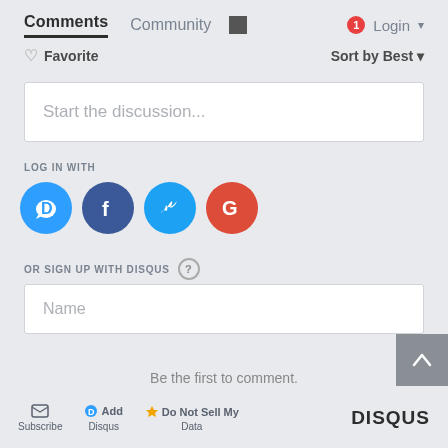Comments  Community  Login
♡ Favorite  Sort by Best
Start the discussion...
LOG IN WITH
[Figure (illustration): Four social login icons: Disqus (blue circle with D), Facebook (dark blue circle with f), Twitter (light blue circle with bird), Google (red circle with G)]
OR SIGN UP WITH DISQUS ?
Name
Be the first to comment.
Subscribe  Add Disqus  Do Not Sell My Data  DISQUS